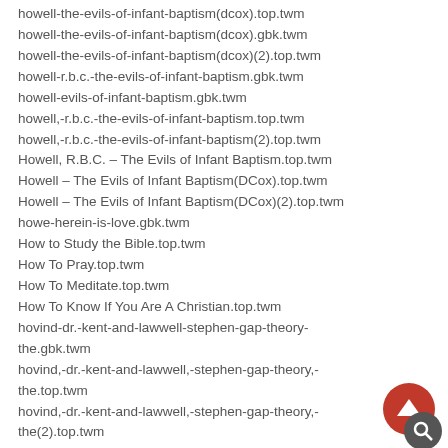howell-the-evils-of-infant-baptism(dcox).top.twm
howell-the-evils-of-infant-baptism(dcox).gbk.twm
howell-the-evils-of-infant-baptism(dcox)(2).top.twm
howell-r.b.c.-the-evils-of-infant-baptism.gbk.twm
howell-evils-of-infant-baptism.gbk.twm
howell,-r.b.c.-the-evils-of-infant-baptism.top.twm
howell,-r.b.c.-the-evils-of-infant-baptism(2).top.twm
Howell, R.B.C. – The Evils of Infant Baptism.top.twm
Howell – The Evils of Infant Baptism(DCox).top.twm
Howell – The Evils of Infant Baptism(DCox)(2).top.twm
howe-herein-is-love.gbk.twm
How to Study the Bible.top.twm
How To Pray.top.twm
How To Meditate.top.twm
How To Know If You Are A Christian.top.twm
hovind-dr.-kent-and-lawwell-stephen-gap-theory-the.gbk.twm
hovind,-dr.-kent-and-lawwell,-stephen-gap-theory,-the.top.twm
hovind,-dr.-kent-and-lawwell,-stephen-gap-theory,-the(2).top.twm
Hovind, Dr. Kent and Lawwell, Stephen – Gap Theory